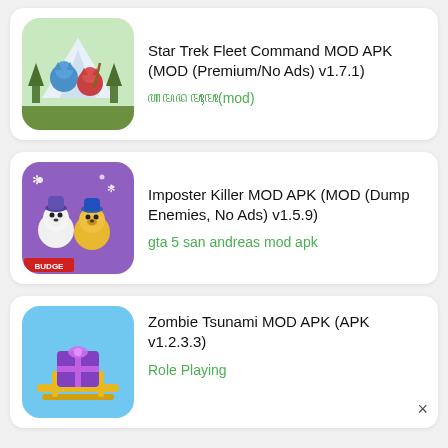[Figure (screenshot): App listing card: Star Trek Fleet Command MOD APK game icon (fantasy animal characters in forest scene)]
Star Trek Fleet Command MOD APK (MOD (Premium/No Ads) v1.7.1)
ꦲꦩꦢꦩꦴꦃꦩꦴ(mod)
[Figure (screenshot): App listing card: Imposter Killer MOD APK game icon (PAW Patrol characters in winter scene, BUDGE logo)]
Imposter Killer MOD APK (MOD (Dump Enemies, No Ads) v1.5.9)
gta 5 san andreas mod apk
[Figure (screenshot): App listing card: Zombie Tsunami MOD APK game icon (cartoon sled with purple present on light blue background)]
Zombie Tsunami MOD APK (APK v1.2.3.3)
Role Playing